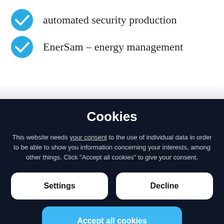automated security production
EnerSam – energy management
Cookies
This website needs your consent to the use of individual data in order to be able to show you information concerning your interests, among other things. Click "Accept all cookies" to give your consent.
Settings
Decline
Accept all cookies